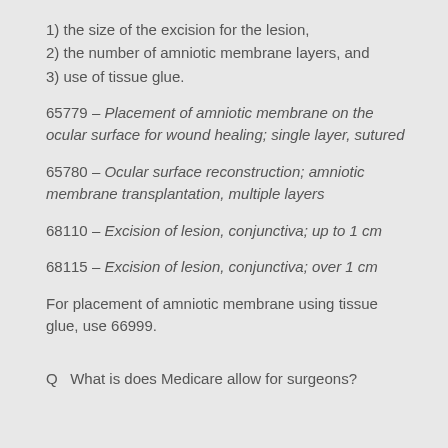1) the size of the excision for the lesion,
2) the number of amniotic membrane layers, and
3) use of tissue glue.
65779 – Placement of amniotic membrane on the ocular surface for wound healing; single layer, sutured
65780 – Ocular surface reconstruction; amniotic membrane transplantation, multiple layers
68110 – Excision of lesion, conjunctiva; up to 1 cm
68115 – Excision of lesion, conjunctiva; over 1 cm
For placement of amniotic membrane using tissue glue, use 66999.
Q  What is does Medicare allow for surgeons?